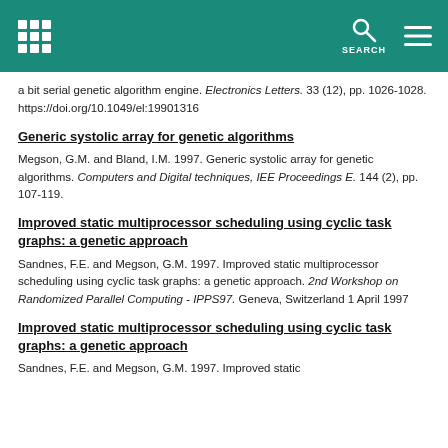SEARCH
a bit serial genetic algorithm engine. Electronics Letters. 33 (12), pp. 1026-1028. https://doi.org/10.1049/el:19901316
Generic systolic array for genetic algorithms
Megson, G.M. and Bland, I.M. 1997. Generic systolic array for genetic algorithms. Computers and Digital techniques, IEE Proceedings E. 144 (2), pp. 107-119.
Improved static multiprocessor scheduling using cyclic task graphs: a genetic approach
Sandnes, F.E. and Megson, G.M. 1997. Improved static multiprocessor scheduling using cyclic task graphs: a genetic approach. 2nd Workshop on Randomized Parallel Computing - IPPS97. Geneva, Switzerland 1 April 1997
Improved static multiprocessor scheduling using cyclic task graphs: a genetic approach
Sandnes, F.E. and Megson, G.M. 1997. Improved static